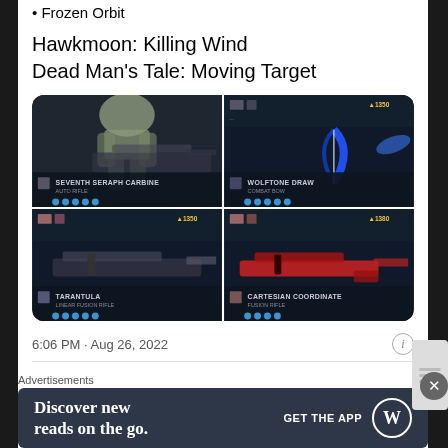• Frozen Orbit
Hawkmoon: Killing Wind
Dead Man's Tale: Moving Target
[Figure (screenshot): Four Destiny 2 weapon inventory screenshots in a 2x2 grid: top-left shows Seventh Seraph Carbine, top-right shows Wolftone Draw, bottom-left shows Tarantula (light level 1350), bottom-right shows Cartesian Coordinate (light level 1380)]
6:06 PM · Aug 26, 2022
♡ 11   Reply   Copy link to Tweet
Advertisements
Discover new reads on the go.   GET THE APP  [WordPress logo]